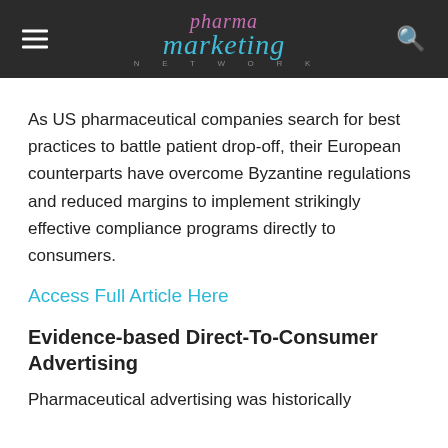pharma marketing network
As US pharmaceutical companies search for best practices to battle patient drop-off, their European counterparts have overcome Byzantine regulations and reduced margins to implement strikingly effective compliance programs directly to consumers.
Access Full Article Here
Evidence-based Direct-To-Consumer Advertising
Pharmaceutical advertising was historically